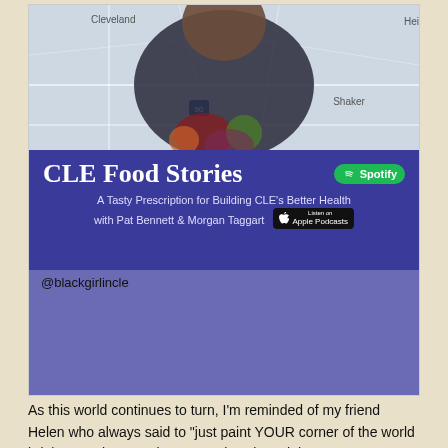[Figure (screenshot): CLE Food Stories podcast cover image. Top half shows a person in a dark shirt handling produce (fruits/vegetables) overlaid on a Cleveland map background. A dark blue brushstroke banner reads 'CLE Food Stories' with a Spotify badge, and subtitle 'A Tasty Prescription for Building CLE's Better Health with Pat Bennett & Morgan Taggart' with an Apple Podcasts badge. Lower portion is a solid purple/violet rectangle with '@blackgirlincle' handle text.]
As this world continues to turn, I'm reminded of my friend Helen who always said to "just paint YOUR corner of the world brighter so that people can see it." She's right.